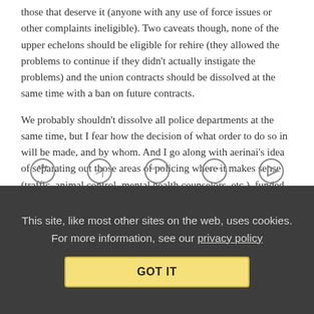those that deserve it (anyone with any use of force issues or other complaints ineligible). Two caveats though, none of the upper echelons should be eligible for rehire (they allowed the problems to continue if they didn’t actually instigate the problems) and the union contracts should be dissolved at the same time with a ban on future contracts.
We probably shouldn’t dissolve all police departments at the same time, but I fear how the decision of what order to do so in will be made, and by whom. And I go along with aerinai’s idea of separating out those areas of policing where it makes sense (traffic, animal control, mental health counselors, etc.), funded by fewer regular police.
Collapse replies (7) | Reply | View in chronology
[Figure (other): Row of five circular icon buttons for comment actions]
This site, like most other sites on the web, uses cookies. For more information, see our privacy policy
GOT IT